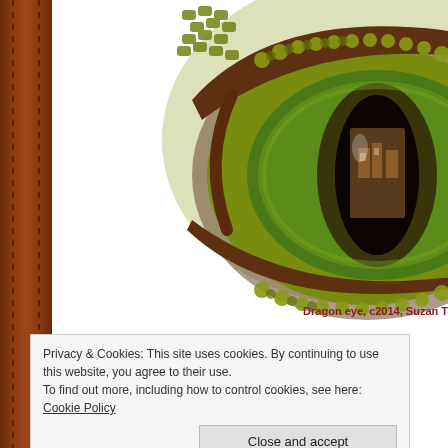[Figure (illustration): Close-up illustration of a dragon eye with green scaly skin, dark slit pupil, and detailed texturing. The eye is positioned in the upper right of the page, partially cropped.]
Dragon eye, c2014, Suzan T
Privacy & Cookies: This site uses cookies. By continuing to use this website, you agree to their use.
To find out more, including how to control cookies, see here: Cookie Policy
Close and accept
the same page is